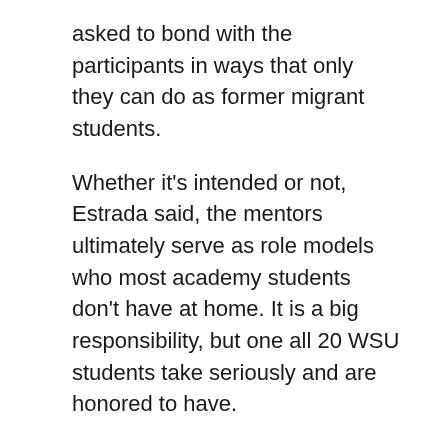asked to bond with the participants in ways that only they can do as former migrant students.
Whether it's intended or not, Estrada said, the mentors ultimately serve as role models who most academy students don't have at home. It is a big responsibility, but one all 20 WSU students take seriously and are honored to have.
Now in its fifth year at WSU, Reyna says the academy's impact on students is largely evident by the success of its mentors.
“We are seeing the fruits of our labor with kids who have attended the camp in high school, enrolled in college, and now want to be mentors in our program,” she said. “We are